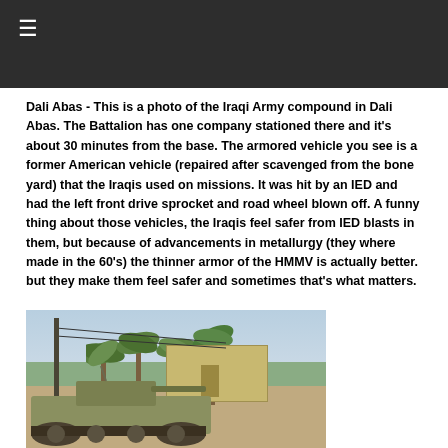Dali Abas - This is a photo of the Iraqi Army compound in Dali Abas. The Battalion has one company stationed there and it's about 30 minutes from the base. The armored vehicle you see is a former American vehicle (repaired after scavenged from the bone yard) that the Iraqis used on missions. It was hit by an IED and had the left front drive sprocket and road wheel blown off. A funny thing about those vehicles, the Iraqis feel safer from IED blasts in them, but because of advancements in metallurgy (they where made in the 60's) the thinner armor of the HMMV is actually better. but they make them feel safer and sometimes that's what matters.
[Figure (photo): Photo of the Iraqi Army compound in Dali Abas showing an armored vehicle, palm trees, buildings, and a utility pole. A 'Go to top' overlay appears in the bottom right corner of the image.]